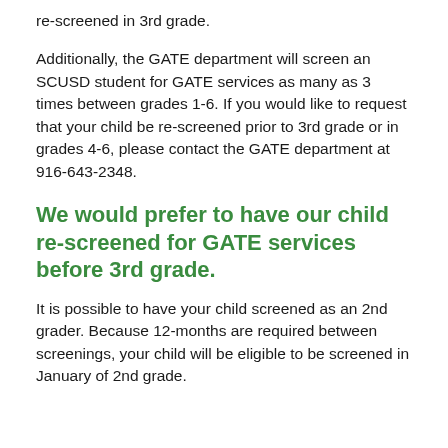re-screened in 3rd grade.
Additionally, the GATE department will screen an SCUSD student for GATE services as many as 3 times between grades 1-6. If you would like to request that your child be re-screened prior to 3rd grade or in grades 4-6, please contact the GATE department at 916-643-2348.
We would prefer to have our child re-screened for GATE services before 3rd grade.
It is possible to have your child screened as an 2nd grader. Because 12-months are required between screenings, your child will be eligible to be screened in January of 2nd grade.